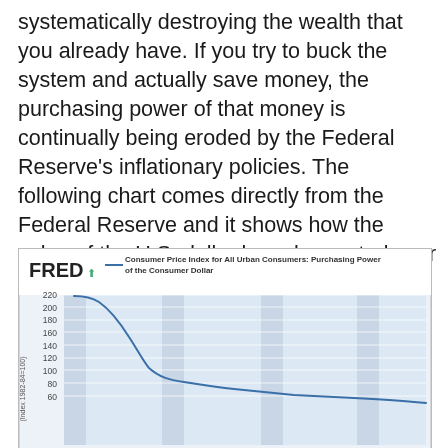systematically destroying the wealth that you already have.  If you try to buck the system and actually save money, the purchasing power of that money is continually being eroded by the Federal Reserve's inflationary policies.  The following chart comes directly from the Federal Reserve and it shows how the value of the U.S. dollar has plummeted over the past 40 years...
[Figure (continuous-plot): FRED chart titled 'Consumer Price Index for All Urban Consumers: Purchasing Power of the Consumer Dollar'. Shows a steep decline from ~220 in the early period down toward ~40 at the end, representing the declining purchasing power of the US dollar over 40 years. Y-axis labeled 'Index 1982-84=100', values from 60 to 220. X-axis not visible (truncated). The line drops sharply at first then flattens into a gradual decline.]